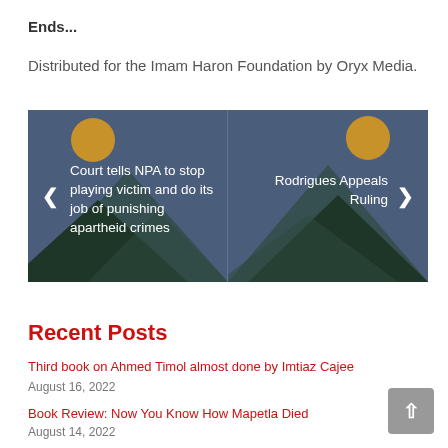Ends...
Distributed for the Imam Haron Foundation by Oryx Media.
[Figure (illustration): A website article slider/carousel with dark blue-gray background showing mountain silhouettes and two article previews: left side 'Court tells NPA to stop playing victim and do its job of punishing apartheid crimes' and right side 'Rodrigues Appeals Ruling', with navigation arrows on each side.]
Recent Posts
Third book on Ahmed Timol almost done by Imtiaz Cajee
August 16, 2022
Book Review: Now You Know How Mapetla Died
August 14, 2022